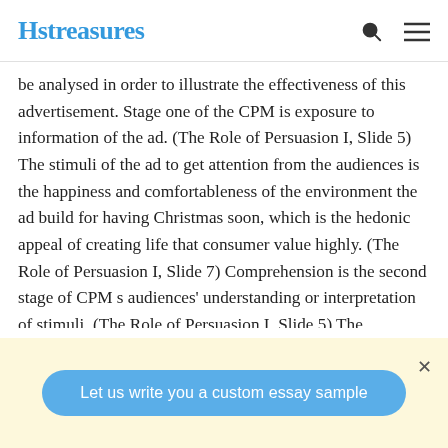Hstreasures
be analysed in order to illustrate the effectiveness of this advertisement. Stage one of the CPM is exposure to information of the ad. (The Role of Persuasion I, Slide 5) The stimuli of the ad to get attention from the audiences is the happiness and comfortableness of the environment the ad build for having Christmas soon, which is the hedonic appeal of creating life that consumer value highly. (The Role of Persuasion I, Slide 7) Comprehension is the second stage of CPM s audiences’ understanding or interpretation of stimuli. (The Role of Persuasion I, Slide 5) The colourful streamers used in the ad helps the ad in developing the features of being happy as to use
Let us write you a custom essay sample